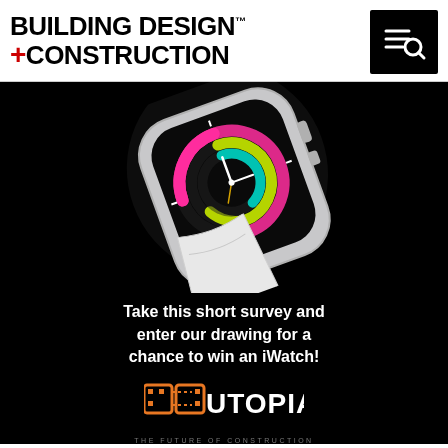BUILDING DESIGN +CONSTRUCTION
[Figure (photo): Apple Watch with colorful activity ring watch face on a black background, shown at an angle with white sport band]
Take this short survey and enter our drawing for a chance to win an iWatch!
[Figure (logo): UTOPIA logo with orange square bracket design and dotted lines. Tagline: THE FUTURE OF CONSTRUCTION]